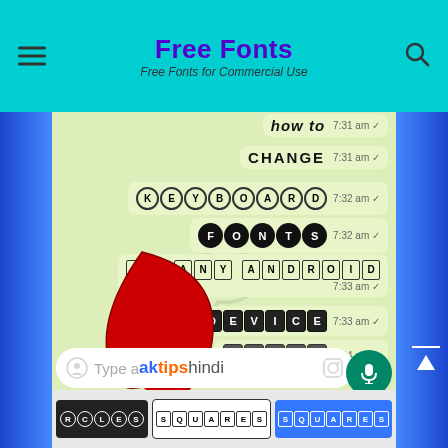Free Fonts — Free Fonts for Commercial Use
[Figure (screenshot): WhatsApp chat screenshot showing messages with various stylized fonts (How to, CHANGE, KEYBOARD, FONTS, IN ANY ANDROID, DEVICE, HINDI) with a large red arrow pointing at them, plus a text input bar showing 'Type a aktipshindi' and a bottom font style selector showing CIRCLES, SQUARES (outline), SQUARES (filled blue)]